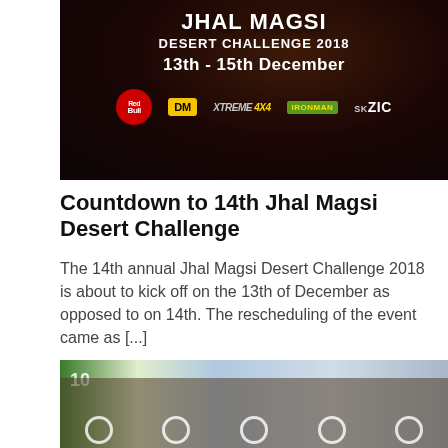[Figure (photo): Dark red banner for Jhal Magsi Desert Challenge 2018, 13th-15th December, with sponsor logos including Red Bull, DM, Xtreme 4x4, Ironman, SK ZIC]
Countdown to 14th Jhal Magsi Desert Challenge
The 14th annual Jhal Magsi Desert Challenge 2018 is about to kick off on the 13th of December as opposed to on 14th. The rescheduling of the event came as [...]
[Figure (photo): Group photo of people at a desert rally event, some holding steering wheels, with a vehicle in the background]